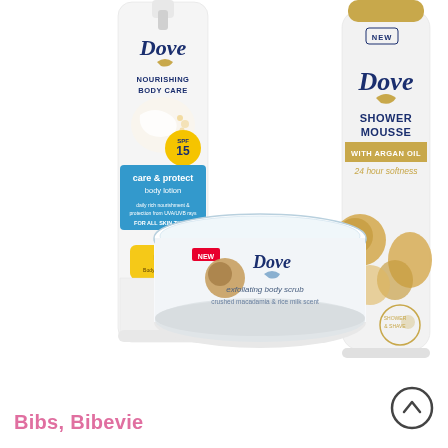[Figure (photo): Three Dove personal care products displayed together: a Dove Nourishing Body Care 'Care & Protect Body Lotion SPF 15' bottle (white pump bottle with blue label), a Dove 'Exfoliating Body Scrub - Crushed Macadamia & Rice Milk Scent' jar (round white jar with light blue rim), and a Dove 'Shower Mousse With Argan Oil - 24 hour softness' aerosol can (white and gold with argan oil nuts imagery). Both the jar and mousse can are labeled NEW.]
Bibs, Bibevie